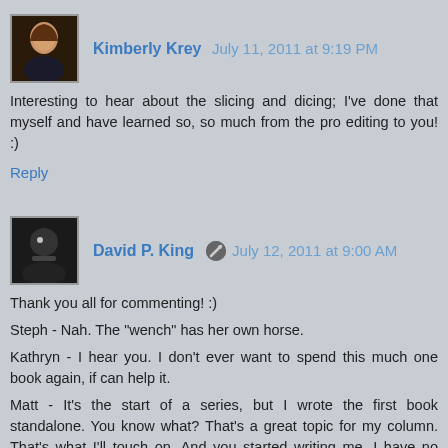Kimberly Krey July 11, 2011 at 9:19 PM
Interesting to hear about the slicing and dicing; I've done that myself and have learned so, so much from the pro editing to you! :)
Reply
David P. King July 12, 2011 at 9:00 AM
Thank you all for commenting! :)
Steph - Nah. The "wench" has her own horse.
Kathryn - I hear you. I don't ever want to spend this much one book again, if can help it.
Matt - It's the start of a series, but I wrote the first book standalone. You know what? That's a great topic for my column. That's what I'll touch on. And you started writing me. I have no doubt you'll get there.
Reply